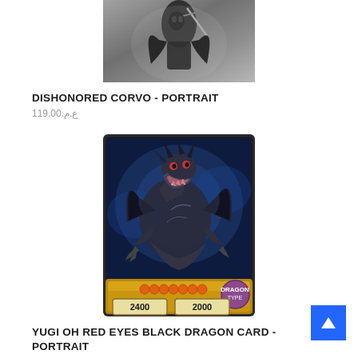[Figure (photo): Dishonored Corvo portrait image — dark fantasy character with mask and sword silhouette against moody sky]
DISHONORED CORVO - PORTRAIT
ع.م.119.00
[Figure (illustration): Yu-Gi-Oh Red Eyes Black Dragon card art — metallic black dragon with wings, ATK 2400 DEF 2000, 7 star rating, on a trading card]
YUGI OH RED EYES BLACK DRAGON CARD - PORTRAIT